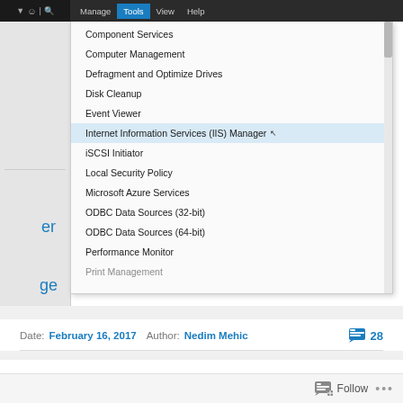[Figure (screenshot): Windows administrative tools dropdown menu showing items: Component Services, Computer Management, Defragment and Optimize Drives, Disk Cleanup, Event Viewer, Internet Information Services (IIS) Manager (hovered with cursor), iSCSI Initiator, Local Security Policy, Microsoft Azure Services, ODBC Data Sources (32-bit), ODBC Data Sources (64-bit), Performance Monitor, Print Management (partially visible). Menu appears under Tools menu in a Windows application top bar with Manage, Tools (active/highlighted), View, Help labels.]
Date: February 16, 2017  Author: Nedim Mehic  💬 28
In this part we will move forward and customize our